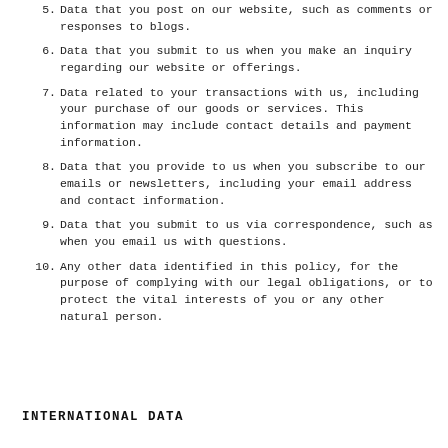5. Data that you post on our website, such as comments or responses to blogs.
6. Data that you submit to us when you make an inquiry regarding our website or offerings.
7. Data related to your transactions with us, including your purchase of our goods or services. This information may include contact details and payment information.
8. Data that you provide to us when you subscribe to our emails or newsletters, including your email address and contact information.
9. Data that you submit to us via correspondence, such as when you email us with questions.
10. Any other data identified in this policy, for the purpose of complying with our legal obligations, or to protect the vital interests of you or any other natural person.
INTERNATIONAL DATA